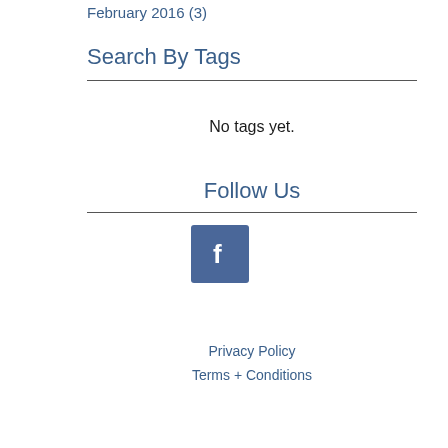February 2016 (3)
Search By Tags
No tags yet.
Follow Us
[Figure (logo): Facebook logo icon — white 'f' letter on a blue/navy square background]
Privacy Policy
Terms + Conditions